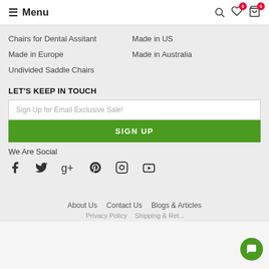Menu
Chairs for Dental Assitant
Made in US
Made in Europe
Made in Australia
Undivided Saddle Chairs
LET'S KEEP IN TOUCH
Sign Up for Email Exclusive Sale!
SIGN UP
We Are Social
Social icons: Facebook, Twitter, Google+, Pinterest, Instagram, YouTube
About Us  Contact Us  Blogs & Articles